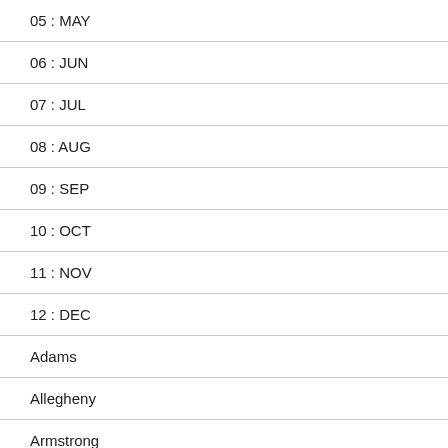05 : MAY
06 : JUN
07 : JUL
08 : AUG
09 : SEP
10 : OCT
11 : NOV
12 : DEC
Adams
Allegheny
Armstrong